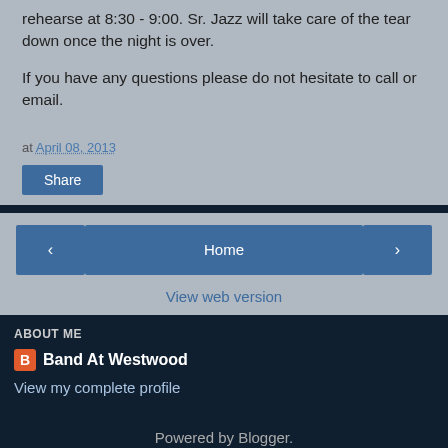rehearse at 8:30 - 9:00.  Sr. Jazz will take care of the tear down once the night is over.
If you have any questions please do not hesitate to call or email.
at April 08, 2013
Share
< Home > View web version
ABOUT ME
Band At Westwood
View my complete profile
Powered by Blogger.